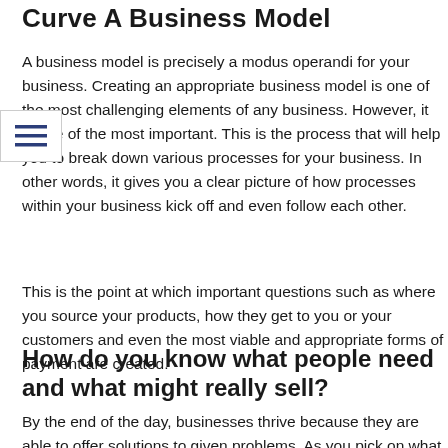Curve A Business Model
A business model is precisely a modus operandi for your business. Creating an appropriate business model is one of the most challenging elements of any business. However, it is one of the most important. This is the process that will help you to break down various processes for your business. In other words, it gives you a clear picture of how processes within your business kick off and even follow each other.
This is the point at which important questions such as where you source your products, how they get to you or your customers and even the most viable and appropriate forms of payment are created.
How do you know what people need and what might really sell?
By the end of the day, businesses thrive because they are able to offer solutions to given problems. As you pick on what products and